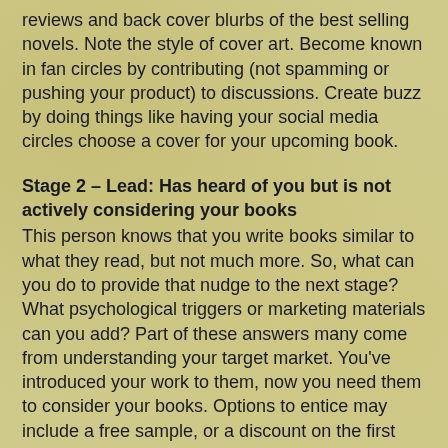reviews and back cover blurbs of the best selling novels. Note the style of cover art. Become known in fan circles by contributing (not spamming or pushing your product) to discussions. Create buzz by doing things like having your social media circles choose a cover for your upcoming book.
Stage 2 – Lead: Has heard of you but is not actively considering your books
This person knows that you write books similar to what they read, but not much more. So, what can you do to provide that nudge to the next stage? What psychological triggers or marketing materials can you add? Part of these answers many come from understanding your target market. You've introduced your work to them, now you need them to consider your books. Options to entice may include a free sample, or a discount on the first book of the series.
Stage 3 – Prospective Reader: Actively considering your books but is looking for more information
This prospect needs more information which can be